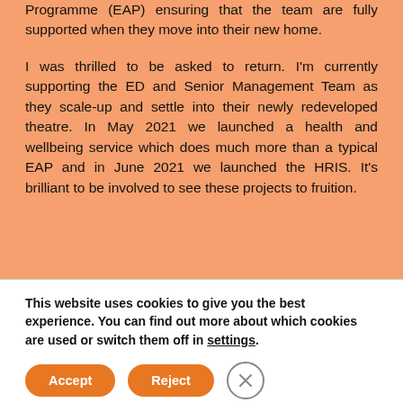Programme (EAP) ensuring that the team are fully supported when they move into their new home.

I was thrilled to be asked to return. I'm currently supporting the ED and Senior Management Team as they scale-up and settle into their newly redeveloped theatre. In May 2021 we launched a health and wellbeing service which does much more than a typical EAP and in June 2021 we launched the HRIS. It's brilliant to be involved to see these projects to fruition.
This website uses cookies to give you the best experience. You can find out more about which cookies are used or switch them off in settings.